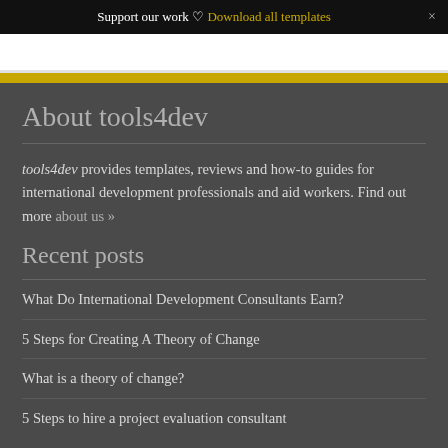Support our work ♡ Download all templates ×
About tools4dev
tools4dev provides templates, reviews and how-to guides for international development professionals and aid workers. Find out more about us »
Recent posts
What Do International Development Consultants Earn?
5 Steps for Creating A Theory of Change
What is a theory of change?
5 Steps to hire a project evaluation consultant